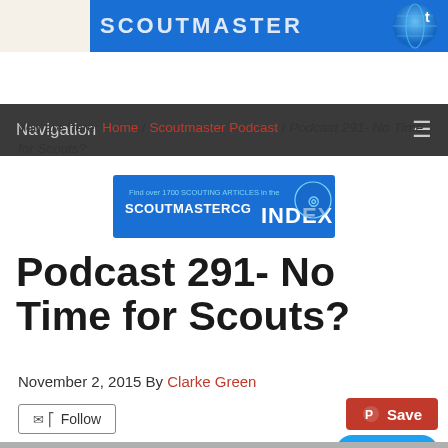[Figure (screenshot): Blue website banner header with white bold text and globe/Twitter bird icon on the right]
Navigation
You are here: Home / Scoutmaster Podcast / Podcast 291- No Time for Scouts?
[Figure (logo): ScoutmasterCG INDEX banner ad - blue background with text 'Find over 1700 SCOUTING ARTICLES in the SCOUTMASTERCG INDEX']
Podcast 291- No Time for Scouts?
November 2, 2015 By Clarke Green
Follow
Save
Tweet